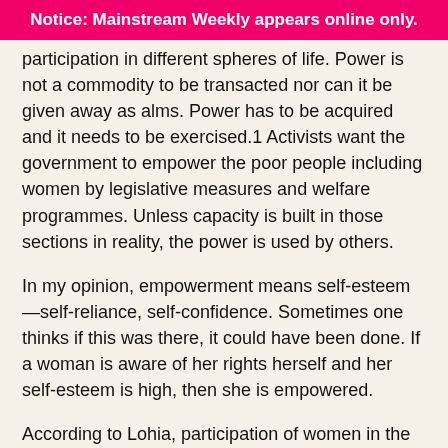Notice: Mainstream Weekly appears online only.
participation in different spheres of life. Power is not a commodity to be transacted nor can it be given away as alms. Power has to be acquired and it needs to be exercised.1 Activists want the government to empower the poor people including women by legislative measures and welfare programmes. Unless capacity is built in those sections in reality, the power is used by others.
In my opinion, empowerment means self-esteem—self-reliance, self-confidence. Sometimes one thinks if this was there, it could have been done. If a woman is aware of her rights herself and her self-esteem is high, then she is empowered.
According to Lohia, participation of women in the policy and decision-making processes at the domestic and public levels is the most important indicator of women's empowerment.2
I believe the goal of empowerment depends on a three-fold